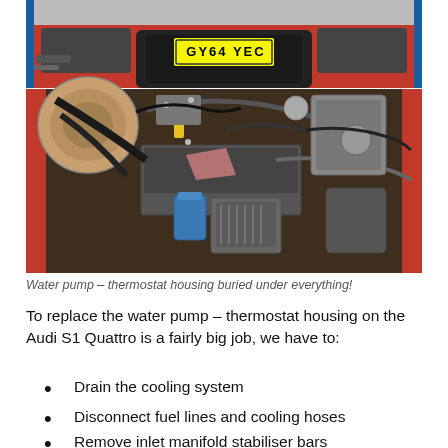[Figure (photo): Two stacked photos: top shows front of a red Audi with number plate GY64 YEC in a garage; bottom shows the engine bay of the same car with the hood open, revealing a complex engine with various hoses, components, and parts visible]
Water pump – thermostat housing buried under everything!
To replace the water pump – thermostat housing on the Audi S1 Quattro is a fairly big job, we have to:
Drain the cooling system
Disconnect fuel lines and cooling hoses
Remove inlet manifold stabiliser bars